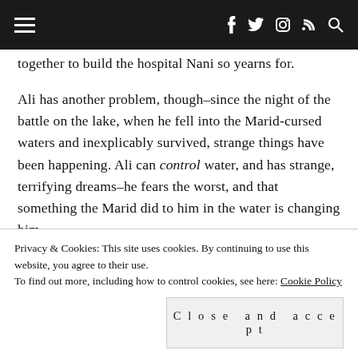≡  f  𝕏  ☷  ⌂  🔍
together to build the hospital Nani so yearns for.
Ali has another problem, though–since the night of the battle on the lake, when he fell into the Marid-cursed waters and inexplicably survived, strange things have been happening. Ali can control water, and has strange, terrifying dreams–he fears the worst, and that something the Marid did to him in the water is changing him.
Privacy & Cookies: This site uses cookies. By continuing to use this website, you agree to their use.
To find out more, including how to control cookies, see here: Cookie Policy
Close and accept